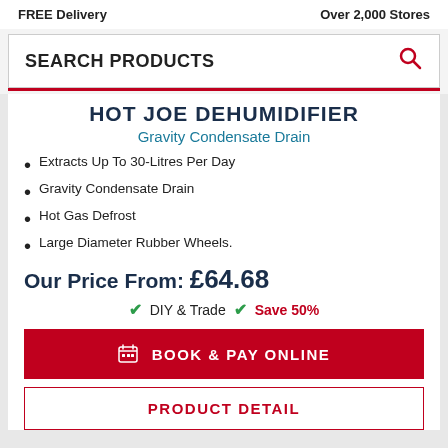FREE Delivery    Over 2,000 Stores
SEARCH PRODUCTS
HOT JOE DEHUMIDIFIER
Gravity Condensate Drain
Extracts Up To 30-Litres Per Day
Gravity Condensate Drain
Hot Gas Defrost
Large Diameter Rubber Wheels.
Our Price From: £64.68
✔ DIY & Trade  ✔ Save 50%
BOOK & PAY ONLINE
PRODUCT DETAIL